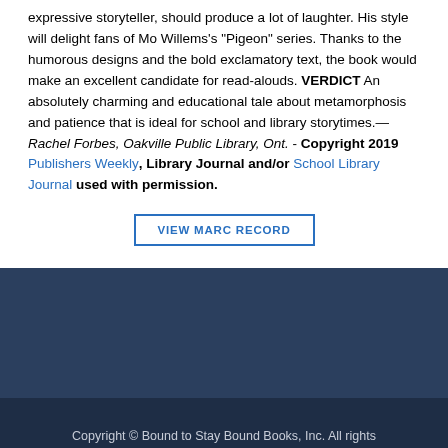expressive storyteller, should produce a lot of laughter. His style will delight fans of Mo Willems's "Pigeon" series. Thanks to the humorous designs and the bold exclamatory text, the book would make an excellent candidate for read-alouds. VERDICT An absolutely charming and educational tale about metamorphosis and patience that is ideal for school and library storytimes.—Rachel Forbes, Oakville Public Library, Ont. - Copyright 2019 Publishers Weekly, Library Journal and/or School Library Journal used with permission.
VIEW MARC RECORD
Copyright © Bound to Stay Bound Books, Inc. All rights reserved.  |  Privacy Policy